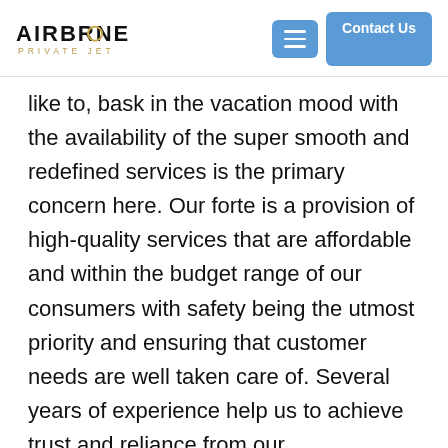AIRBORNE PRIVATE JET
like to, bask in the vacation mood with the availability of the super smooth and redefined services is the primary concern here. Our forte is a provision of high-quality services that are affordable and within the budget range of our consumers with safety being the utmost priority and ensuring that customer needs are well taken care of. Several years of experience help us to achieve trust and reliance from our